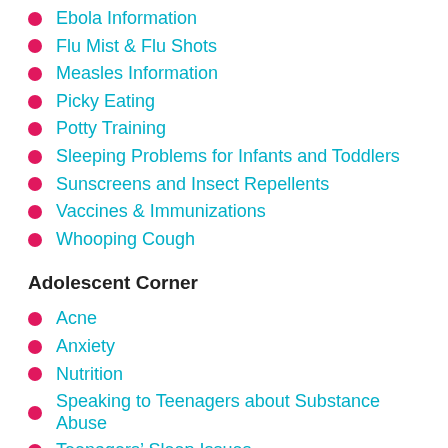Ebola Information
Flu Mist & Flu Shots
Measles Information
Picky Eating
Potty Training
Sleeping Problems for Infants and Toddlers
Sunscreens and Insect Repellents
Vaccines & Immunizations
Whooping Cough
Adolescent Corner
Acne
Anxiety
Nutrition
Speaking to Teenagers about Substance Abuse
Teenagers’ Sleep Issues
When to Let Your Teenager Start Dating